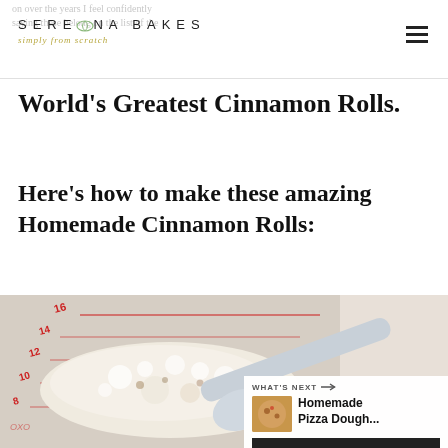on over the years I feel confidently saying these belong on the list of the
World's Greatest Cinnamon Rolls.
Here's how to make these amazing Homemade Cinnamon Rolls:
[Figure (photo): Close-up photo of a measuring cup with foamy yeast mixture and a measuring spoon, red measurement markings visible on cup sides. Social sharing sidebar with heart icon (11 saves) and share icon. 'What's Next' overlay showing Homemade Pizza Dough thumbnail.]